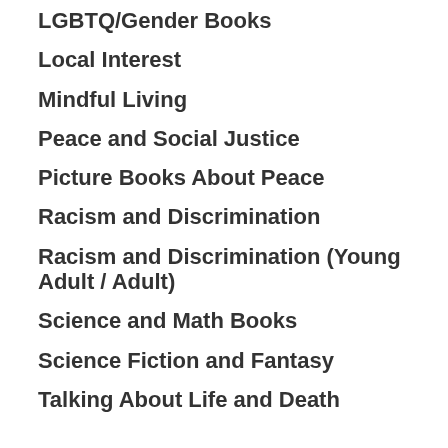LGBTQ/Gender Books
Local Interest
Mindful Living
Peace and Social Justice
Picture Books About Peace
Racism and Discrimination
Racism and Discrimination (Young Adult / Adult)
Science and Math Books
Science Fiction and Fantasy
Talking About Life and Death